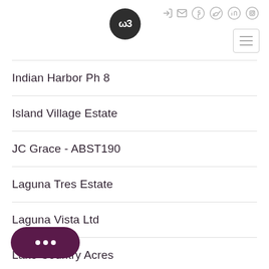[Figure (logo): WB logo - dark circular badge with WB letters in white]
Indian Harbor Ph 8
Island Village Estate
JC Grace - ABST190
Laguna Tres Estate
Laguna Vista Ltd
Lake Country Acres
...bury Estates